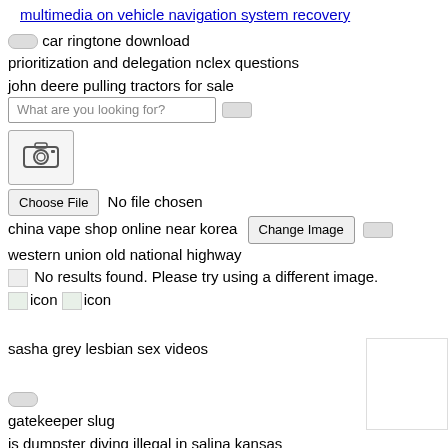multimedia on vehicle navigation system recovery
car ringtone download
prioritization and delegation nclex questions
john deere pulling tractors for sale
[Figure (screenshot): Camera icon button (upload image UI)]
Choose File  No file chosen
china vape shop online near korea  Change Image
western union old national highway
No results found. Please try using a different image.
icon  icon
sasha grey lesbian sex videos
gatekeeper slug
is dumpster diving illegal in salina kansas
hope greek word
rissa and quan biography
hillsboro toyota
technology freepik
she is too beautiful
obey me quiz which character are you
ezyms software download